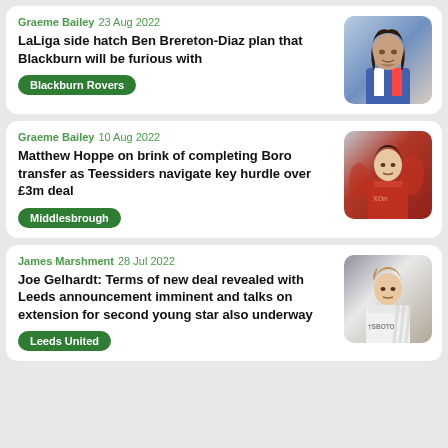Graeme Bailey  23 Aug 2022
LaLiga side hatch Ben Brereton-Diaz plan that Blackburn will be furious with
Blackburn Rovers
Graeme Bailey  10 Aug 2022
Matthew Hoppe on brink of completing Boro transfer as Teessiders navigate key hurdle over £3m deal
Middlesbrough
James Marshment  28 Jul 2022
Joe Gelhardt: Terms of new deal revealed with Leeds announcement imminent and talks on extension for second young star also underway
Leeds United